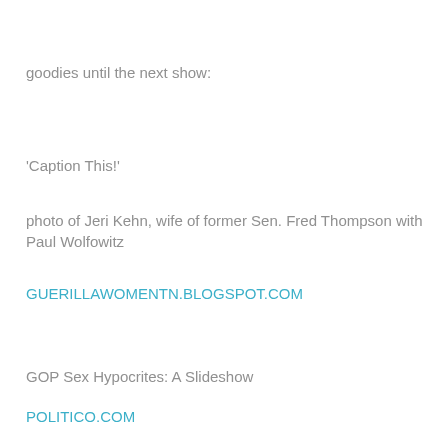goodies until the next show:
'Caption This!'
photo of Jeri Kehn, wife of former Sen. Fred Thompson with Paul Wolfowitz
GUERILLAWOMENTN.BLOGSPOT.COM
GOP Sex Hypocrites: A Slideshow
POLITICO.COM